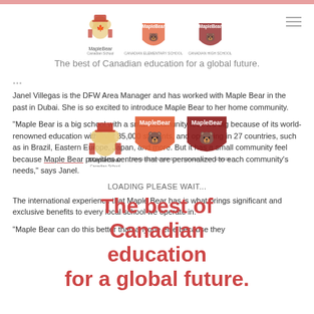[Figure (logo): Maple Bear Canadian School logo and two variant logos (MapleBear Canadian Elementary School, MapleBear Canadian High School) in header]
The best of Canadian education for a global future.
[Figure (logo): Three MapleBear logos overlaid on content area]
Janel Villegas is the DFW Area Manager and has worked with Maple Bear in the past in Dubai. She is so excited to introduce Maple Bear to her home community.
[Figure (logo): The best of Canadian education for a global future. large text overlay with red color]
"Maple Bear is a big school with a small community feel. It’s big because of its world-renowned education with over 35,000 students, and operating in 27 countries, such as in Brazil, Eastern Europe, Japan, and more. But it has a small community feel because Maple Bear provides centres that are personalized to each community’s needs," says Janel.
LOADING PLEASE WAIT...
The international experience that Maple Bear has is what brings significant and exclusive benefits to every local school we operate in.
"Maple Bear can do this better than anyone else because they